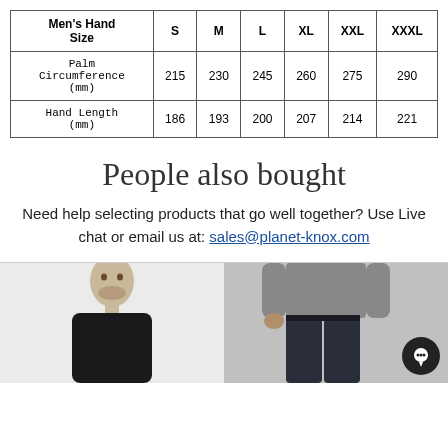| Men's Hand Size | S | M | L | XL | XXL | XXXL |
| --- | --- | --- | --- | --- | --- | --- |
| Palm Circumference (mm) | 215 | 230 | 245 | 260 | 275 | 290 |
| Hand Length (mm) | 186 | 193 | 200 | 207 | 214 | 221 |
People also bought
Need help selecting products that go well together? Use Live chat or email us at: sales@planet-knox.com
[Figure (photo): Man wearing black top, cropped at torso/head, light background]
[Figure (photo): Man wearing grey top and dark jeans, cropped at torso, dark background]